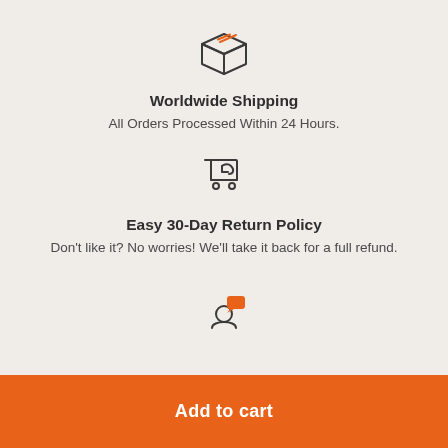[Figure (illustration): Box/package icon with orange lines on top, dark outline style]
Worldwide Shipping
All Orders Processed Within 24 Hours.
[Figure (illustration): Shopping cart with return arrow icon, dark outline style]
Easy 30-Day Return Policy
Don't like it? No worries! We'll take it back for a full refund.
[Figure (illustration): Person with speech/chat bubble icon, orange chat bubble, dark outline style]
Add to cart